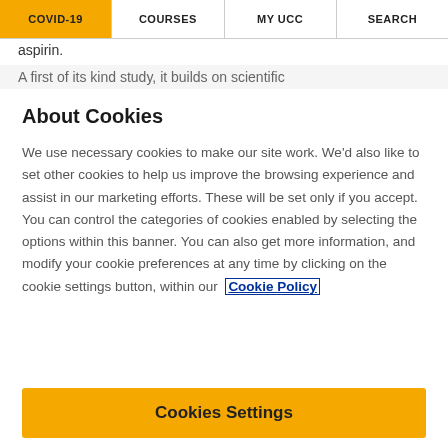COVID-19 | COURSES | MY UCC | SEARCH
aspirin.
A first of its kind study, it builds on scientific
About Cookies
We use necessary cookies to make our site work. We'd also like to set other cookies to help us improve the browsing experience and assist in our marketing efforts. These will be set only if you accept. You can control the categories of cookies enabled by selecting the options within this banner. You can also get more information, and modify your cookie preferences at any time by clicking on the cookie settings button, within our Cookie Policy
Cookies Settings